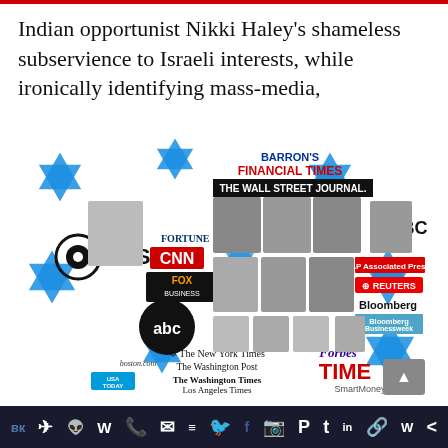Indian opportunist Nikki Haley's shameless subservience to Israeli interests, while ironically identifying mass-media,
[Figure (infographic): Antisemitic conspiracy collage showing media company logos (CBS, CNN, NBC, Fox Business, ABC, Financial Times, Wall Street Journal, Barron's, Reuters, Bloomberg, Bloomberg Businessweek, Associated Press, The New York Times, The Washington Post, The Washington Times, Los Angeles Times, Chicago Tribune, Forbes, TIME, SmartMoney, boston.com, USA TODAY, Fortune, CNBC) surrounded by blue Star of David symbols and photos of various people, implying Jewish control of media]
Share icons: VK, Telegram, Reddit, WordPress, WhatsApp, Email, Layers, Twitter, Facebook, Instagram, Pinterest, Tumblr, LinkedIn, Share, W, More